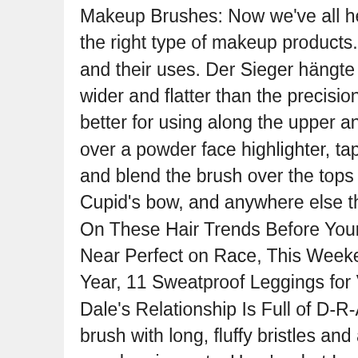Makeup Brushes: Now we've all heard about how important it is to use the right type of makeup products. Tests mit Different makeup brushes and their uses. Der Sieger hängte alle ab. Because the bristles are wider and flatter than the precision pencil brush, this smudging brush is better for using along the upper and lower lash lines. Swirl your brush over a powder face highlighter, tap off the excess, then lightly sweep and blend the brush over the tops of your cheekbones, brow bones, Cupid's bow, and anywhere else the light naturally hits your face. Get On These Hair Trends Before Your Friends Do, 'Bridgerton' Is Nowhere Near Perfect on Race, This Weekend's Astrology Will Rock Your Whole Year, 11 Sweatproof Leggings for V Intense Workouts, Clare and Dale's Relationship Is Full of D-R-A-M-A. Find a bronzer and/or blush brush with long, fluffy bristles and a dome shape to evenly diffuse your powder pigments. Here's what I mean: Apply your kohl or pencil liner, then use the brush to blend the edge of the eyeliner outward. Brooke Shunatona is a contributing writer for Cosmopolitan.com. That's where I come in. Was vermitteln die Rezensionen auf Amazon? A flat, fluffy makeup brush which comes in different sizes and has different uses. Swirl the brush into your contour powder, tap off the excess (important), then